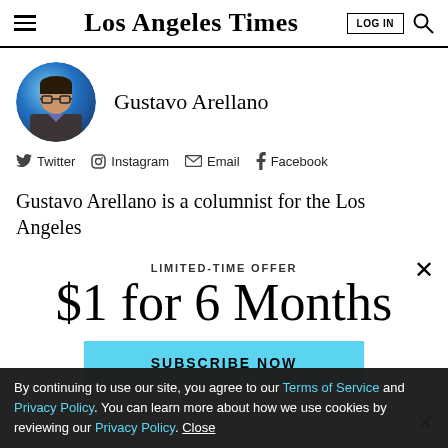Los Angeles Times — LOG IN
[Figure (photo): Circular profile photo of Gustavo Arellano, man with glasses wearing a plaid shirt, on a blue gradient background]
Gustavo Arellano
Twitter  Instagram  Email  Facebook
Gustavo Arellano is a columnist for the Los Angeles
LIMITED-TIME OFFER
$1 for 6 Months
SUBSCRIBE NOW
By continuing to use our site, you agree to our Terms of Service and Privacy Policy. You can learn more about how we use cookies by reviewing our Privacy Policy. Close